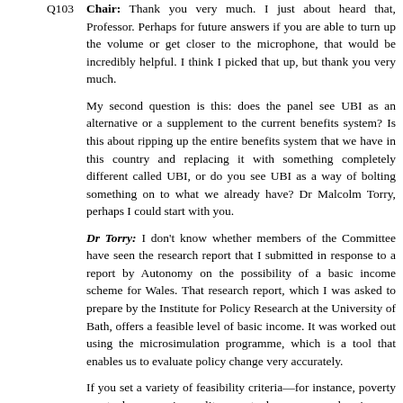Q103 Chair: Thank you very much. I just about heard that, Professor. Perhaps for future answers if you are able to turn up the volume or get closer to the microphone, that would be incredibly helpful. I think I picked that up, but thank you very much.
My second question is this: does the panel see UBI as an alternative or a supplement to the current benefits system? Is this about ripping up the entire benefits system that we have in this country and replacing it with something completely different called UBI, or do you see UBI as a way of bolting something on to what we already have? Dr Malcolm Torry, perhaps I could start with you.
Dr Torry: I don't know whether members of the Committee have seen the research report that I submitted in response to a report by Autonomy on the possibility of a basic income scheme for Wales. That research report, which I was asked to prepare by the Institute for Policy Research at the University of Bath, offers a feasible level of basic income. It was worked out using the microsimulation programme, which is a tool that enables us to evaluate policy change very accurately.
If you set a variety of feasibility criteria—for instance, poverty must decrease, inequality must decrease, no low-income households must suffer unsustainable losses of any kind, and it needs to be a revenue-neutral change to the benefits system, which you can pay for by reducing the income tax personal allowance and raising income tax rates by no more than 3%—